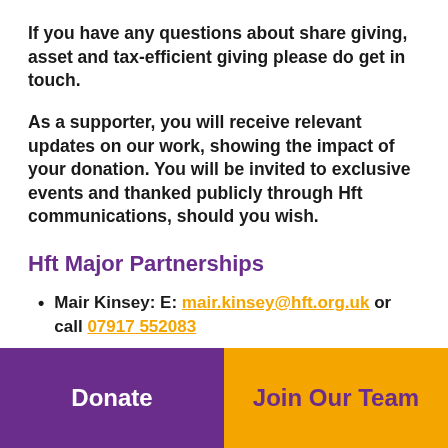If you have any questions about share giving, asset and tax-efficient giving please do get in touch.
As a supporter, you will receive relevant updates on our work, showing the impact of your donation. You will be invited to exclusive events and thanked publicly through Hft communications, should you wish.
Hft Major Partnerships
Mair Kinsey: E: mair.kinsey@hft.org.uk or call 07917 552083
Please do call to talk about bespoke projects and
Donate   Join Our Team